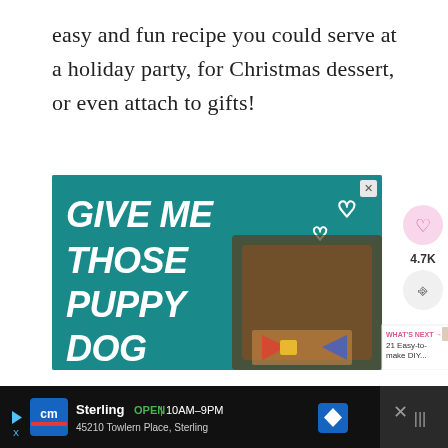easy and fun recipe you could serve at a holiday party, for Christmas dessert, or even attach to gifts!
[Figure (photo): Advertisement banner featuring a dog with text 'GIVE ME THOSE PUPPY DOG EYES' on a teal background with heart icons and a dog wearing a bow tie. Sidebar shows heart/like icon with count 4.7K, share icon, and a 'What's Next' preview showing '21 Easy-to-make DIY...']
[Figure (screenshot): Bottom advertisement bar for 'Sterling' store on dark background showing 'OPEN | 10AM-9PM' and address '45210 Towlern Place, Sterling' with CM logo, navigation icon, and close button]